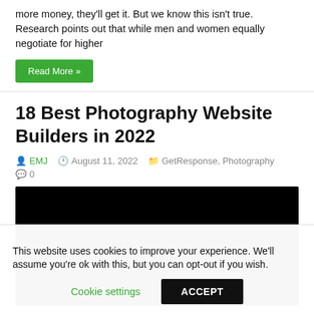more money, they'll get it. But we know this isn't true. Research points out that while men and women equally negotiate for higher
Read More »
18 Best Photography Website Builders in 2022
EMJ  August 11, 2022  GetResponse, Photography  0
[Figure (photo): Black image placeholder for article thumbnail]
This website uses cookies to improve your experience. We'll assume you're ok with this, but you can opt-out if you wish. Cookie settings  ACCEPT